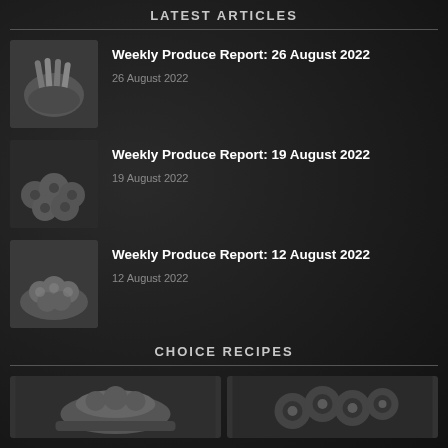LATEST ARTICLES
[Figure (photo): Black and white photo of cinnamon sticks on a plate]
Weekly Produce Report: 26 August 2022
26 August 2022
[Figure (photo): Black and white photo of strawberries]
Weekly Produce Report: 19 August 2022
19 August 2022
[Figure (photo): Black and white photo of cauliflower in a bowl]
Weekly Produce Report: 12 August 2022
12 August 2022
CHOICE RECIPES
[Figure (photo): Black and white photo of a bowl with food]
[Figure (photo): Black and white photo of chocolate-covered items]